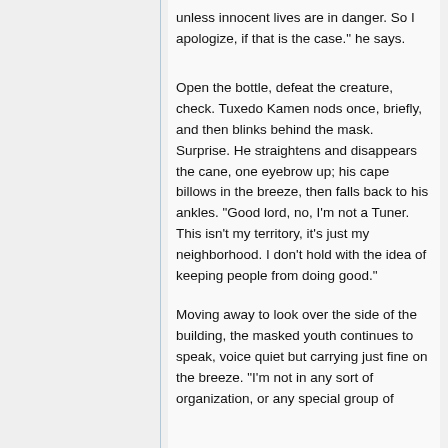unless innocent lives are in danger. So I apologize, if that is the case." he says.
Open the bottle, defeat the creature, check. Tuxedo Kamen nods once, briefly, and then blinks behind the mask. Surprise. He straightens and disappears the cane, one eyebrow up; his cape billows in the breeze, then falls back to his ankles. "Good lord, no, I'm not a Tuner. This isn't my territory, it's just my neighborhood. I don't hold with the idea of keeping people from doing good."
Moving away to look over the side of the building, the masked youth continues to speak, voice quiet but carrying just fine on the breeze. "I'm not in any sort of organization, or any special group of